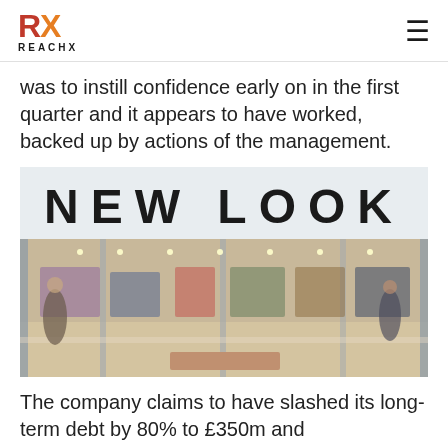RX REACHX
was to instill confidence early on in the first quarter and it appears to have worked, backed up by actions of the management.
[Figure (photo): Exterior photo of a New Look retail store showing the store front with large 'NEW LOOK' signage, glass frontage revealing clothing displays and mannequins inside, shoppers visible.]
The company claims to have slashed its long-term debt by 80% to £350m and